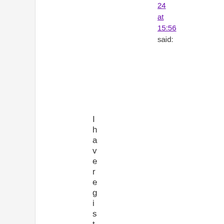24
at
15:56
said:
I have registered a